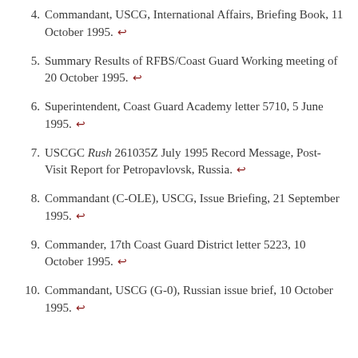4. Commandant, USCG, International Affairs, Briefing Book, 11 October 1995. ↵
5. Summary Results of RFBS/Coast Guard Working meeting of 20 October 1995. ↵
6. Superintendent, Coast Guard Academy letter 5710, 5 June 1995. ↵
7. USCGC Rush 261035Z July 1995 Record Message, Post-Visit Report for Petropavlovsk, Russia. ↵
8. Commandant (C-OLE), USCG, Issue Briefing, 21 September 1995. ↵
9. Commander, 17th Coast Guard District letter 5223, 10 October 1995. ↵
10. Commandant, USCG (G-0), Russian issue brief, 10 October 1995. ↵